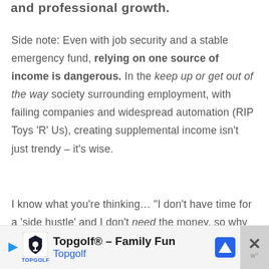and professional growth.
Side note: Even with job security and a stable emergency fund, relying on one source of income is dangerous. In the keep up or get out of the way society surrounding employment, with failing companies and widespread automation (RIP Toys ‘R’ Us), creating supplemental income isn’t just trendy – it’s wise.
I know what you’re thinking… “I don’t have time for a ‘side hustle’ and I don’t need the money, so why would I take the
[Figure (other): Advertisement banner for Topgolf - Family Fun, showing Topgolf logo, blue text 'Topgolf', navigation icon, and a close button with X symbol]